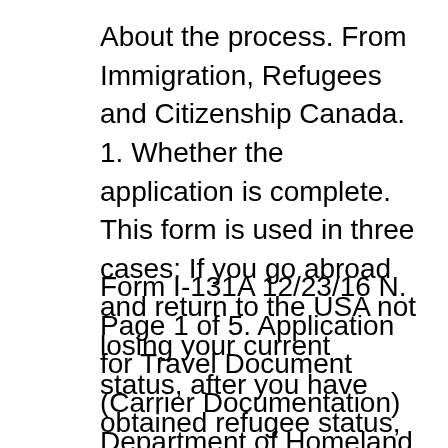About the process. From Immigration, Refugees and Citizenship Canada. 1. Whether the application is complete. This form is used in three cases: If you go abroad and return to the USA not losing your current status, after you have obtained refugee status, but before you have
Form I-131A 12/23/16 N. Page 1 of 5. Application for Travel Document (Carrier Documentation) Department of Homeland Security . U.S. Citizenship and Immigration Services Once your I-821D, Deferred Action for Childhood Arrivals (DACA) request is approved, DACA applicants are eligible to apply for an I-131 Travel Document to the...